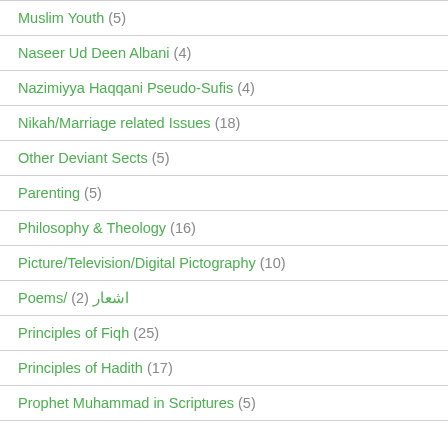Muslim Youth (5)
Naseer Ud Deen Albani (4)
Nazimiyya Haqqani Pseudo-Sufis (4)
Nikah/Marriage related Issues (18)
Other Deviant Sects (5)
Parenting (5)
Philosophy & Theology (16)
Picture/Television/Digital Pictography (10)
Poems/ اشعار (2)
Principles of Fiqh (25)
Principles of Hadith (17)
Prophet Muhammad in Scriptures (5)